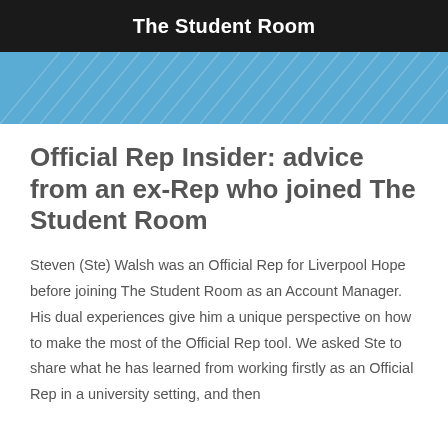The Student Room
[Figure (illustration): Light blue decorative banner with diagonal hatching lines pattern]
Official Rep Insider: advice from an ex-Rep who joined The Student Room
Steven (Ste) Walsh was an Official Rep for Liverpool Hope before joining The Student Room as an Account Manager. His dual experiences give him a unique perspective on how to make the most of the Official Rep tool. We asked Ste to share what he has learned from working firstly as an Official Rep in a university setting, and then